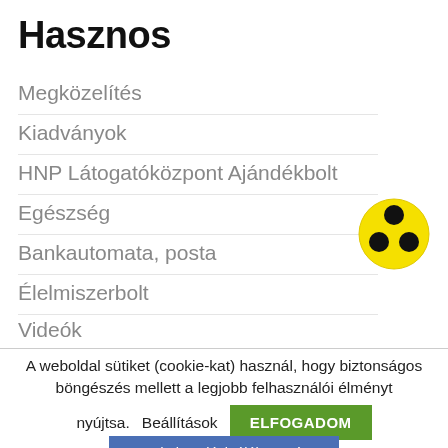Hasznos
Megközelítés
Kiadványok
HNP Látogatóközpont Ajándékbolt
Egészség
[Figure (illustration): Yellow radiation/warning symbol icon with three black circles arranged in a triangle on a yellow circular background]
Bankautomata, posta
Élelmiszerbolt
Videók
A weboldal sütiket (cookie-kat) használ, hogy biztonságos böngészés mellett a legjobb felhasználói élményt nyújtsa.
Beállítások   ELFOGADOM
Adatkezelési tájékoztató